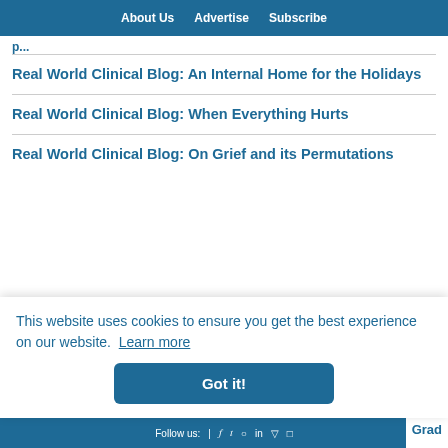About Us   Advertise   Subscribe
Real World Clinical Blog: An Internal Home for the Holidays
Real World Clinical Blog: When Everything Hurts
Real World Clinical Blog: On Grief and its Permutations
This website uses cookies to ensure you get the best experience on our website. Learn more
Got it!
Follow us:  |  [social icons]  Grad